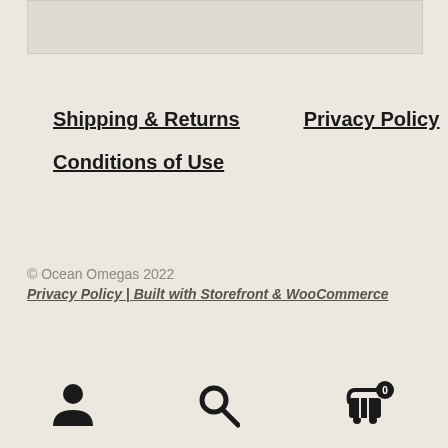[Figure (other): Light beige/cream colored rectangular image placeholder box at top of page]
Shipping & Returns
Privacy Policy
Conditions of Use
© Ocean Omegas 2022
Privacy Policy | Built with Storefront & WooCommerce
[Figure (infographic): Bottom navigation bar with three icons: person/account icon on left, search magnifying glass icon in center, shopping cart icon with badge showing 0 on right]